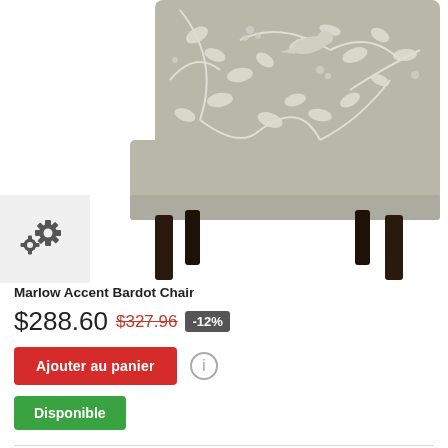[Figure (photo): Product photo of Marlow Accent Bardot Chair with grey and white floral/bird pattern upholstery and dark wood legs]
[Figure (other): Settings/gear icon in a light grey square]
Marlow Accent Bardot Chair
$288.60 $327.96 -12%
Ajouter au panier
Disponible
Ajouter à ma liste d'envies  +  Ajouter au comparateur